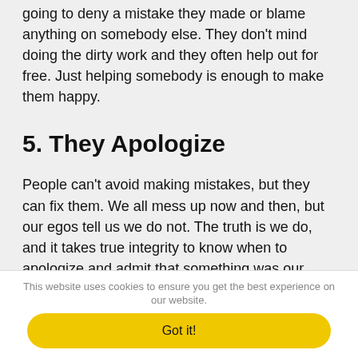People with true integrity are very humble. They're never going to deny a mistake they made or blame anything on somebody else. They don't mind doing the dirty work and they often help out for free. Just helping somebody is enough to make them happy.
5. They Apologize
People can't avoid making mistakes, but they can fix them. We all mess up now and then, but our egos tell us we do not. The truth is we do, and it takes true integrity to know when to apologize and admit that something was our fault.
This website uses cookies to ensure you get the best experience on our website.
Got it!